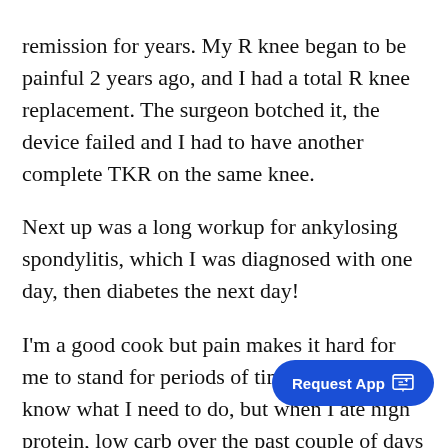remission for years. My R knee began to be painful 2 years ago, and I had a total R knee replacement. The surgeon botched it, the device failed and I had to have another complete TKR on the same knee.
Next up was a long workup for ankylosing spondylitis, which I was diagnosed with one day, then diabetes the next day!
I'm a good cook but pain makes it hard for me to stand for periods of time. I think I know what I need to do, but when I ate high protein, low carb over the past couple of days I was **starving.** I am completely lost, I never thought I would become diab... here I am. I don't even now when to... glucose readings. My dh is also a diabetic so